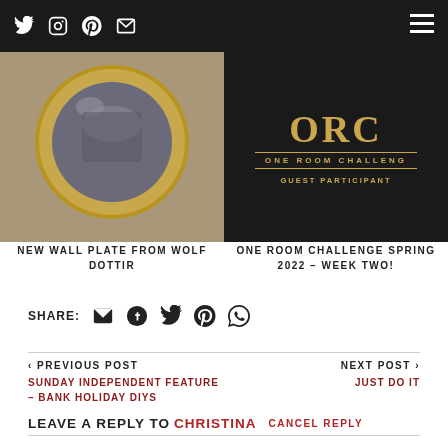Twitter Instagram Pinterest Email | Menu
[Figure (photo): Left half: circular gold-framed convex mirror with dark reflection. Right half: One Room Challenge guest participant logo in gold on dark background.]
NEW WALL PLATE FROM WOLF DOTTIR
ONE ROOM CHALLENGE SPRING 2022 – WEEK TWO!
SHARE:
< PREVIOUS POST
SUNDAY INDEPENDENT FEATURE – BANK HOLIDAY DIYS
NEXT POST >
JUST DO IT
LEAVE A REPLY TO CHRISTINA   CANCEL REPLY